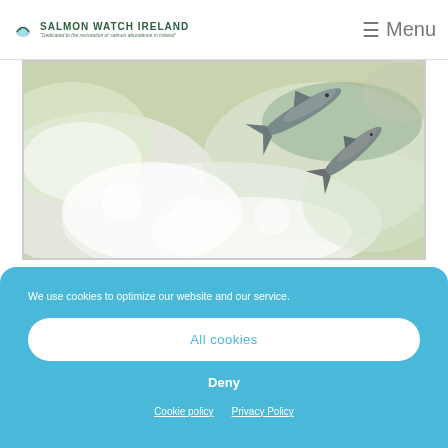SALMON WATCH IRELAND - "Dedicated to the restoration of salmon abundance in Ireland"
[Figure (photo): Salmon leaping through white water rapids, viewed from above. Fish are visible mid-air against churning foamy water.]
We use cookies to optimize our website and our service.
All cookies
Deny
Cookie policy   Privacy Policy